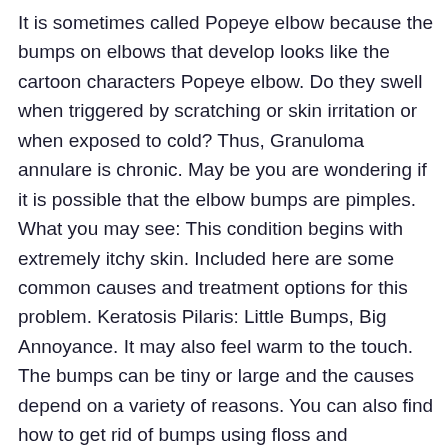It is sometimes called Popeye elbow because the bumps on elbows that develop looks like the cartoon characters Popeye elbow. Do they swell when triggered by scratching or skin irritation or when exposed to cold? Thus, Granuloma annulare is chronic. May be you are wondering if it is possible that the elbow bumps are pimples. What you may see: This condition begins with extremely itchy skin. Included here are some common causes and treatment options for this problem. Keratosis Pilaris: Little Bumps, Big Annoyance. It may also feel warm to the touch. The bumps can be tiny or large and the causes depend on a variety of reasons. You can also find how to get rid of bumps using floss and mouthwash. These creams belong to a category of medications used to relieve of itching. DH is sometimes called Duhrings disease or gluten rash. This is also known as necrotic papulosis. You can be faced by a bump on elbow that is not itchy. Do not ignore the bumps on your elbow and